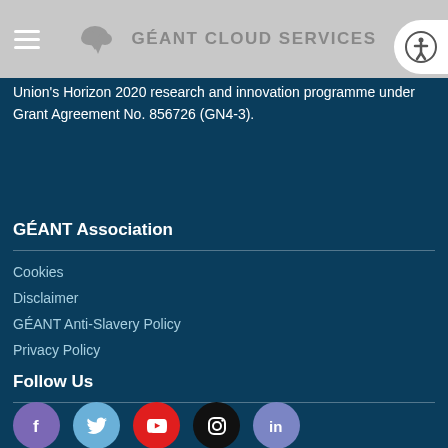GÉANT CLOUD SERVICES
Union's Horizon 2020 research and innovation programme under Grant Agreement No. 856726 (GN4-3).
GÉANT Association
Cookies
Disclaimer
GÉANT Anti-Slavery Policy
Privacy Policy
Follow Us
[Figure (infographic): Social media icons row: Facebook (purple circle), Twitter (blue circle), YouTube (red circle), Instagram (black circle), LinkedIn (blue-purple circle)]